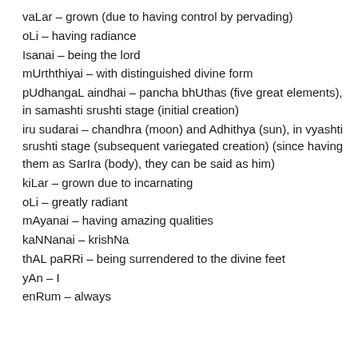vaLar – grown (due to having control by pervading)
oLi – having radiance
Isanai – being the lord
mUrththiyai – with distinguished divine form
pUdhangaL aindhai – pancha bhUthas (five great elements), in samashti srushti stage (initial creation)
iru sudarai – chandhra (moon) and Adhithya (sun), in vyashti srushti stage (subsequent variegated creation) (since having them as SarIra (body), they can be said as him)
kiLar – grown due to incarnating
oLi – greatly radiant
mAyanai – having amazing qualities
kaNNanai – krishNa
thAL paRRi – being surrendered to the divine feet
yAn – I
enRum – always